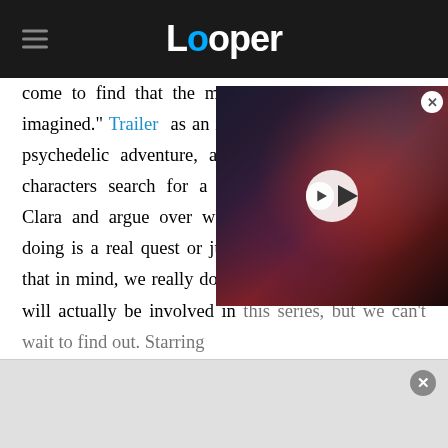Looper
[Figure (screenshot): Video thumbnail showing a dark creature/monster scene with a play button overlay and a close (X) button in the top right corner]
come to find that the myste[ry is bigger than] they ever imagined." Trailer [describes this] as an interesting hybrid of d[rama,] psychedelic adventure, and [self-] discovery, as the characters search for a mysterious woman named Clara and argue over whether or not what they're doing is a real quest or just an elaborate hoax. With that in mind, we really don't know how much fantasy will actually be involved in this series, but we can't wait to find out. Starring
[Figure (screenshot): Ad bar at bottom with close X button]